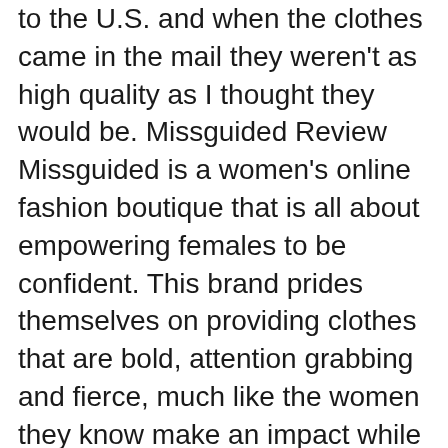to the U.S. and when the clothes came in the mail they weren't as high quality as I thought they would be. Missguided Review Missguided is a women's online fashion boutique that is all about empowering females to be confident. This brand prides themselves on providing clothes that are bold, attention grabbing and fierce, much like the women they know make an impact while on the go.
Download >> Download Shipping missguided reviews Read Online >> Read Online Shipping missguided reviews missguided return cost missguided us customer service number missguided delivery tracking